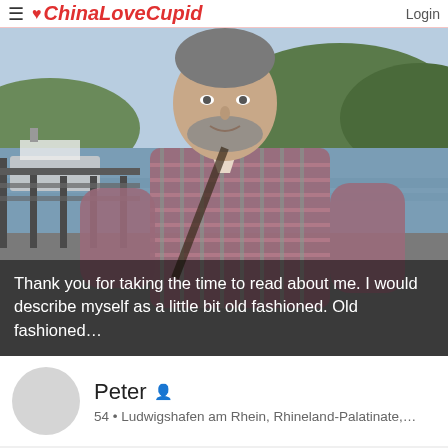ChinaLoveCupid  Login
[Figure (photo): A middle-aged bearded man in a plaid shirt standing on a waterfront promenade with a river, boats, and green hills in the background.]
Thank you for taking the time to read about me. I would describe myself as a little bit old fashioned. Old fashioned...
Peter
54 • Ludwigshafen am Rhein, Rhineland-Palatinate,...